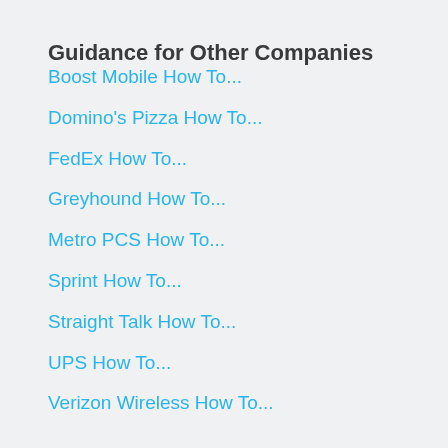Guidance for Other Companies
Boost Mobile How To...
Domino's Pizza How To...
FedEx How To...
Greyhound How To...
Metro PCS How To...
Sprint How To...
Straight Talk How To...
UPS How To...
Verizon Wireless How To...